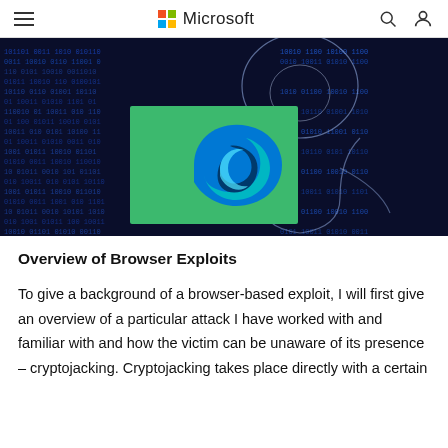Microsoft
[Figure (photo): A dark blue digital background with binary code and a hooded hacker silhouette, overlaid with a green rectangle showing the Microsoft Edge browser logo (blue-green swirl).]
Overview of Browser Exploits
To give a background of a browser-based exploit, I will first give an overview of a particular attack I have worked with and familiar with and how the victim can be unaware of its presence – cryptojacking. Cryptojacking takes place directly with a certain